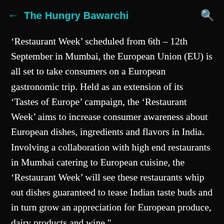The Hungry Bawarchi
‘Restaurant Week’ scheduled from 6th – 12th September in Mumbai, the European Union (EU) is all set to take consumers on a European gastronomic trip. Held as an extension of its ‘Tastes of Europe’ campaign, the ‘Restaurant Week’ aims to increase consumer awareness about European dishes, ingredients and flavors in India. Involving a collaboration with high end restaurants in Mumbai catering to European cuisine, the ‘Restaurant Week’ will see these restaurants whip out dishes guaranteed to tease Indian taste buds and in turn grow an appreciation for European produce, dairy products and wine."